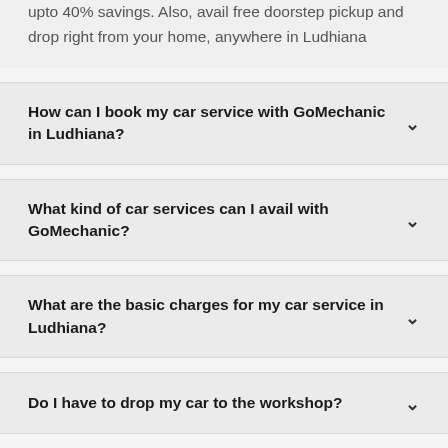upto 40% savings. Also, avail free doorstep pickup and drop right from your home, anywhere in Ludhiana
How can I book my car service with GoMechanic in Ludhiana?
What kind of car services can I avail with GoMechanic?
What are the basic charges for my car service in Ludhiana?
Do I have to drop my car to the workshop?
What if I am not satisfied with my car service?